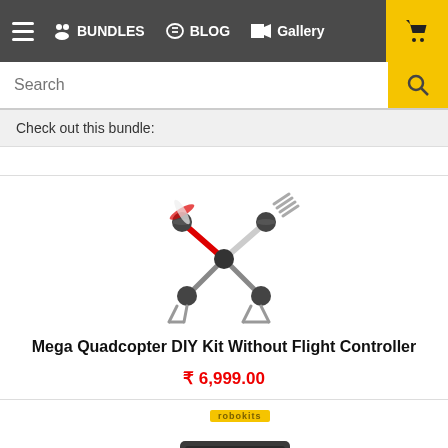≡ 🎁 BUNDLES 💬 BLOG 📹 Gallery 🛒
Search
Check out this bundle:
[Figure (photo): Mega Quadcopter DIY Kit product image showing frame, motors, and propellers]
Mega Quadcopter DIY Kit Without Flight Controller
₹ 6,999.00
[Figure (photo): APM 2.6 ArduPilot Flight Control Board product image with brand logo]
APM2.6 ArduPilot Flight Control Board with Protective